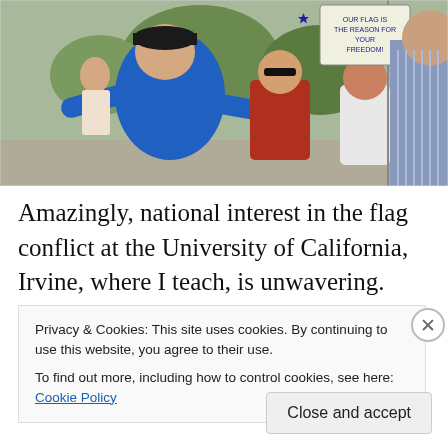[Figure (photo): Outdoor photo of an elderly man in a blue t-shirt and black cap gesturing with outstretched arms toward a young man in a striped shirt. Behind him stands a woman in a red jacket and another woman in a white shirt holding an American flag. A sign reading 'Our Flag is the Reason for Your Freedom!' is visible in the background along with trees and other people.]
Amazingly, national interest in the flag conflict at the University of California, Irvine, where I teach, is unwavering.  More than a few people seem to think that
Privacy & Cookies: This site uses cookies. By continuing to use this website, you agree to their use.
To find out more, including how to control cookies, see here: Cookie Policy
Close and accept